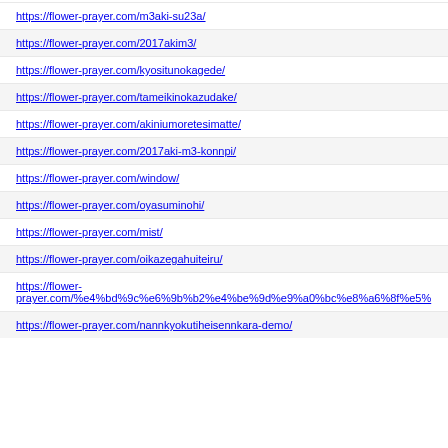https://flower-prayer.com/m3aki-su23a/
https://flower-prayer.com/2017akim3/
https://flower-prayer.com/kyositunokagede/
https://flower-prayer.com/tameikinokazudake/
https://flower-prayer.com/akiniumoretesimatte/
https://flower-prayer.com/2017aki-m3-konnpi/
https://flower-prayer.com/window/
https://flower-prayer.com/oyasuminohi/
https://flower-prayer.com/mist/
https://flower-prayer.com/oikazegahuiteiru/
https://flower-prayer.com/%e4%bd%9c%e6%9b%b2%e4%be%9d%e9%a0%bc%e8%a6%8f%e5%...
https://flower-prayer.com/nannkyokutiheisennkara-demo/